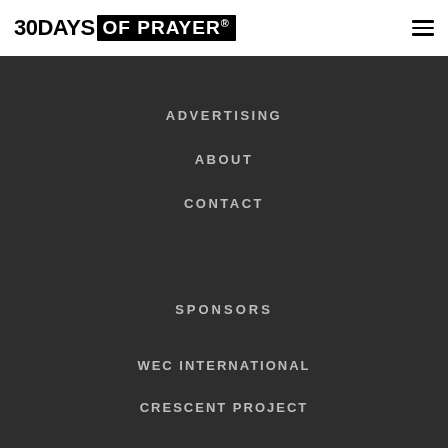30 DAYS OF PRAYER®
ADVERTISING
ABOUT
CONTACT
SPONSORS
WEC INTERNATIONAL
CRESCENT PROJECT